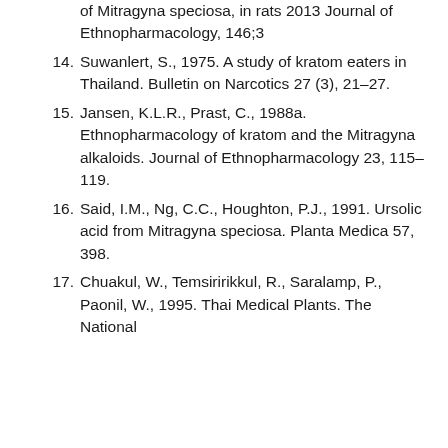(continuation) of Mitragyna speciosa, in rats 2013 Journal of Ethnopharmacology, 146;3
14. Suwanlert, S., 1975. A study of kratom eaters in Thailand. Bulletin on Narcotics 27 (3), 21–27.
15. Jansen, K.L.R., Prast, C., 1988a. Ethnopharmacology of kratom and the Mitragyna alkaloids. Journal of Ethnopharmacology 23, 115–119.
16. Said, I.M., Ng, C.C., Houghton, P.J., 1991. Ursolic acid from Mitragyna speciosa. Planta Medica 57, 398.
17. Chuakul, W., Temsiririkkul, R., Saralamp, P., Paonil, W., 1995. Thai Medical Plants. The National...